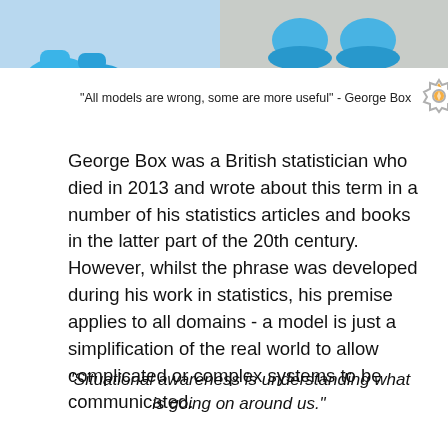[Figure (photo): Two partial photos: left shows blue toy figurine feet/shoes cropped at top, right shows blue rubber boot shapes on a grey carpet surface.]
"All models are wrong, some are more useful" - George Box
George Box was a British statistician who died in 2013 and wrote about this term in a number of his statistics articles and books in the latter part of the 20th century. However, whilst the phrase was developed during his work in statistics, his premise applies to all domains - a model is just a simplification of the real world to allow complicated or complex systems to be communicated.
"Situational awareness is understanding what is going on around us."